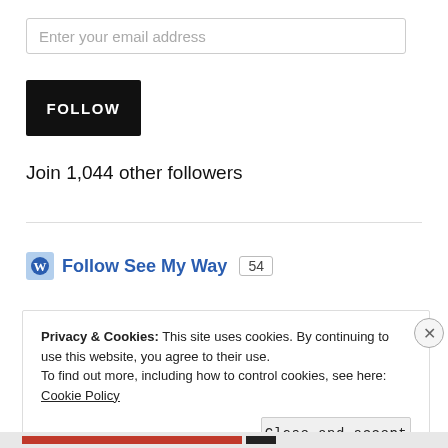Enter your email address
FOLLOW
Join 1,044 other followers
Follow See My Way 54
Privacy & Cookies: This site uses cookies. By continuing to use this website, you agree to their use. To find out more, including how to control cookies, see here: Cookie Policy
Close and accept